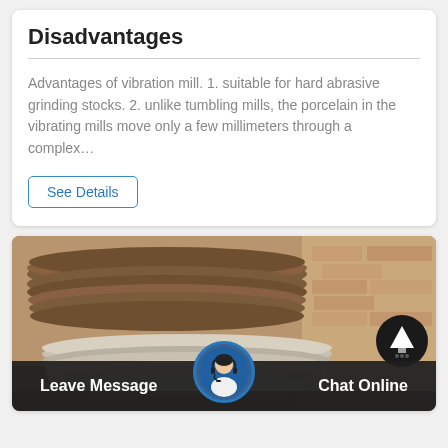Disadvantages
Advantages of vibration mill. 1. suitable for hard abrasive grinding stocks. 2. unlike tumbling mills, the porcelain in the vibrating mills move only a few millimeters through a complex…
See Details
[Figure (photo): Industrial photo showing stacked circular metal/ceramic disc plates in a workshop or factory setting, with brick wall in background. A circular up-arrow navigation button is visible in the top right of the image. A customer service chat bar at the bottom shows 'Leave Message' on the left, a headset-wearing agent avatar in the center, and 'Chat Online' on the right.]